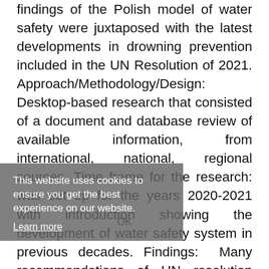findings of the Polish model of water safety were juxtaposed with the latest developments in drowning prevention included in the UN Resolution of 2021. Approach/Methodology/Design: Desktop-based research that consisted of a document and database review of available information, from international, national, regional sources. Time frame for the research: was set up for the years 2020-2021 with introduction showing the development of water safety system in previous decades. Findings: Many recommendations of UN resolution have already been implemented in Poland, such as international cooperation through a civic organisation such as WOPR operating within ILS, the training process (although the systemic one is implemented not within
This website uses cookies to ensure you get the best experience on our website. Learn more
OK